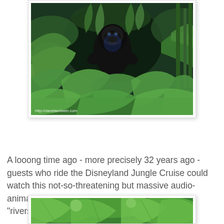[Figure (photo): Photo of an audio-animatronic gorilla standing amid dense tropical jungle foliage at Disneyland's Jungle Cruise. Watermark reads: http://davelandweb.com]
A looong time ago - more precisely 32 years ago - guests who ride the Disneyland Jungle Cruise could watch this not-so-threatening but massive audio-animatronic gorilla standing on the banks of the "rivers of Africa".
[Figure (photo): Partial photo showing tropical jungle foliage with banana leaves, top portion visible.]